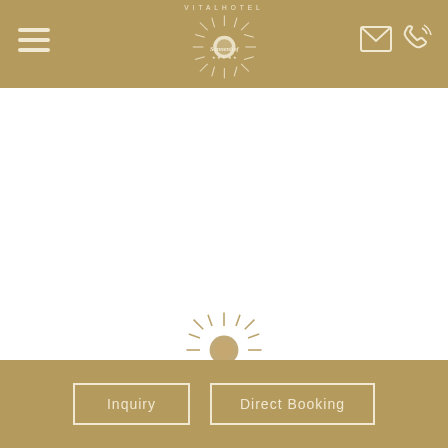VITALHOTEL Sonnenhof
[Figure (logo): Vitalhotel Sonnenhof logo with sun/starburst graphic and decorative script text, white on gold background]
[Figure (illustration): Gold sun/starburst decorative icon centered on white area]
Your Ski holiday
Inquiry
Direct Booking